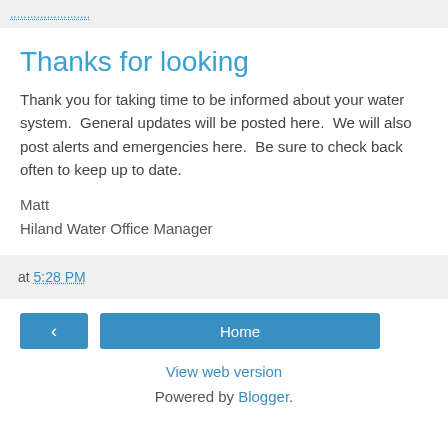Thanks for looking
Thank you for taking time to be informed about your water system.  General updates will be posted here.  We will also post alerts and emergencies here.  Be sure to check back often to keep up to date.
Matt
Hiland Water Office Manager
at 5:28 PM
< Home
View web version
Powered by Blogger.